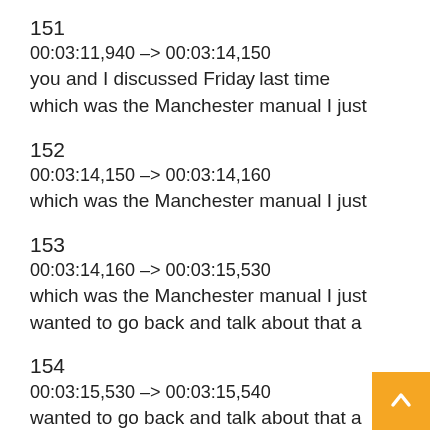151
00:03:11,940 –> 00:03:14,150
you and I discussed Friday last time
which was the Manchester manual I just
152
00:03:14,150 –> 00:03:14,160
which was the Manchester manual I just
153
00:03:14,160 –> 00:03:15,530
which was the Manchester manual I just
wanted to go back and talk about that a
154
00:03:15,530 –> 00:03:15,540
wanted to go back and talk about that a
155